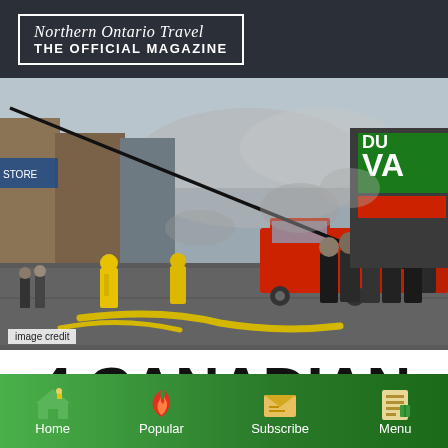Northern Ontario Travel THE OFFICIAL MAGAZINE
[Figure (photo): Street scene with firefighters in yellow suits, fire trucks, hoses on road, smoke, bystanders on right sidewalk, storefronts visible, image credit label in bottom left]
image credit
4 CANADIAN TV SHOWS SHOT IN
Home | Popular | Subscribe | Menu